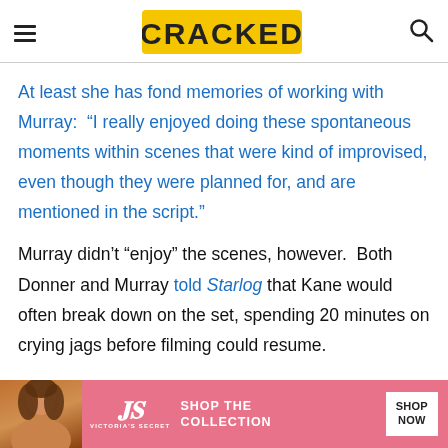CRACKED
At least she has fond memories of working with Murray:  “I really enjoyed doing these spontaneous moments within scenes that were kind of improvised, even though they were planned for, and are mentioned in the script.”
Murray didn’t “enjoy” the scenes, however.  Both Donner and Murray told Starlog that Kane would often break down on the set, spending 20 minutes on crying jags before filming could resume.
[Figure (advertisement): Victoria's Secret advertisement banner with model photo, VS logo, 'SHOP THE COLLECTION' text and 'SHOP NOW' button]